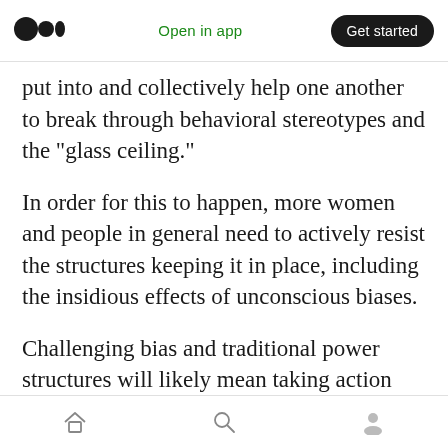Open in app | Get started
put into and collectively help one another to break through behavioral stereotypes and the “glass ceiling.”
In order for this to happen, more women and people in general need to actively resist the structures keeping it in place, including the insidious effects of unconscious biases.
Challenging bias and traditional power structures will likely mean taking action that may not help advance your career — for instance, being that employee who speaks out
Home | Search | Profile